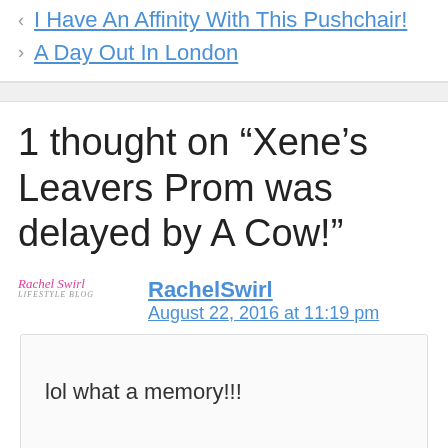< I Have An Affinity With This Pushchair!
> A Day Out In London
1 thought on “Xene’s Leavers Prom was delayed by A Cow!”
RachelSwirl
August 22, 2016 at 11:19 pm
lol what a memory!!!